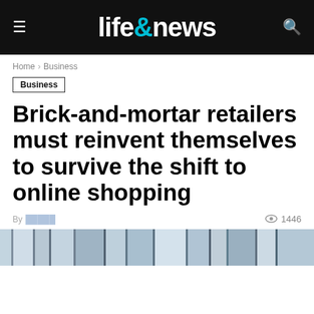life&news
Home > Business
Business
Brick-and-mortar retailers must reinvent themselves to survive the shift to online shopping
By  1446
[Figure (photo): Horizontal strip image showing storefront windows or glass panels in blue-grey tones]